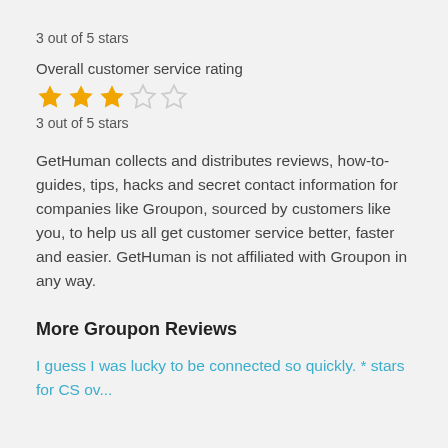3 out of 5 stars
Overall customer service rating
[Figure (other): 3 out of 5 filled star rating icons (3 filled gold stars, 2 empty outline stars)]
3 out of 5 stars
GetHuman collects and distributes reviews, how-to-guides, tips, hacks and secret contact information for companies like Groupon, sourced by customers like you, to help us all get customer service better, faster and easier. GetHuman is not affiliated with Groupon in any way.
More Groupon Reviews
I guess I was lucky to be connected so quickly. * stars for CS ov...